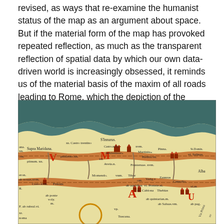revised, as ways that re-examine the humanist status of the map as an argument about space. But if the material form of the map has provoked repeated reflection, as much as the transparent reflection of spatial data by which our own data-driven world is increasingly obsessed, it reminds us of the material basis of the maxim of all roads leading to Rome, which the depiction of the cursus publicus so clearly embodied.
[Figure (photo): A section of an ancient Roman road map (Tabula Peutingeriana or similar), showing illustrated towns, roads, and Latin place names including Castro trentino, Amiternia, Hadria, Pinna, Momendo, Tibor, Fidenis, and others, rendered in a medieval manuscript style with colored illustrations of buildings and terrain.]